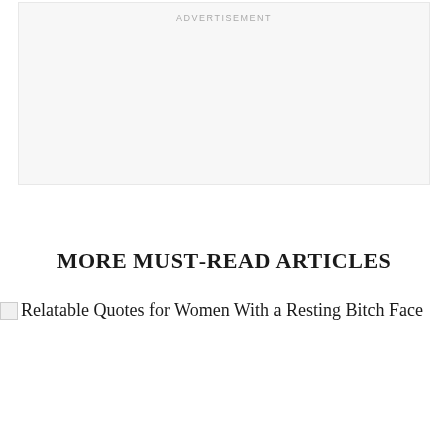ADVERTISEMENT
MORE MUST-READ ARTICLES
Relatable Quotes for Women With a Resting Bitch Face